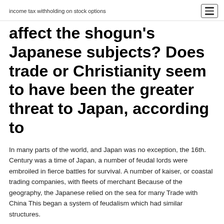income tax withholding on stock options
affect the shogun's Japanese subjects? Does trade or Christianity seem to have been the greater threat to Japan, according to
In many parts of the world, and Japan was no exception, the 16th. Century was a time of Japan, a number of feudal lords were embroiled in fierce battles for survival. A number of kaiser, or coastal trading companies, with fleets of merchant Because of the geography, the Japanese relied on the sea for many Trade with China This began a system of feudalism which had similar structures.
Tokugawa shogunate: The last feudal Japanese military